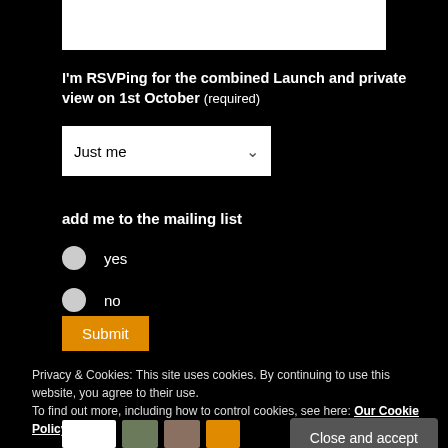[Figure (screenshot): White rectangular box at top, partial UI element]
I'm RSVPing for the combined Launch and private view on 1st October (required)
[Figure (screenshot): Dropdown select box showing 'Just me' with arrow]
add me to the mailing list
yes
no
[Figure (screenshot): Orange Submit button]
Privacy & Cookies: This site uses cookies. By continuing to use this website, you agree to their use.
To find out more, including how to control cookies, see here: Our Cookie Policy
[Figure (screenshot): Close and accept button (dark gray, bottom right)]
[Figure (screenshot): Row of small icon thumbnails at bottom: white, photo, photo, orange]